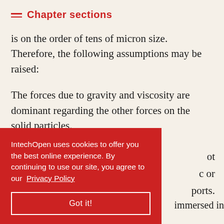Chapter sections
is on the order of tens of micron size. Therefore, the following assumptions may be raised:
The forces due to gravity and viscosity are dominant regarding the other forces on the solid particles.
The shape of the solid particles is approximately spherical.
[partial text visible behind overlay: ...ot ...c or ...ports. ...immersed in ...]
IntechOpen uses cookies to offer you the best online experience. By continuing to use our site, you agree to our Privacy Policy
Got it!